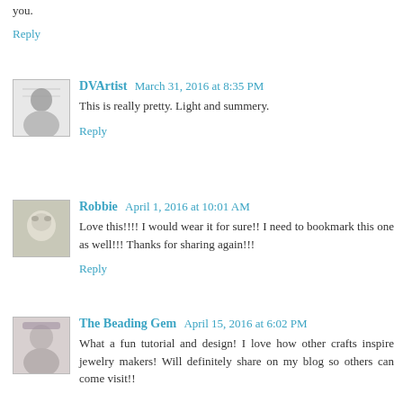you.
Reply
DVArtist  March 31, 2016 at 8:35 PM
This is really pretty. Light and summery.
Reply
Robbie  April 1, 2016 at 10:01 AM
Love this!!!! I would wear it for sure!! I need to bookmark this one as well!!! Thanks for sharing again!!!
Reply
The Beading Gem  April 15, 2016 at 6:02 PM
What a fun tutorial and design! I love how other crafts inspire jewelry makers! Will definitely share on my blog so others can come visit!!